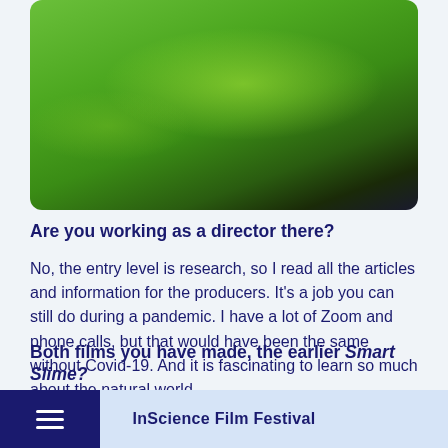[Figure (photo): Close-up photo of green laboratory gloves, likely holding or examining something, against a dark background]
Are you working as a director there?
No, the entry level is research, so I read all the articles and information for the producers. It’s a job you can still do during a pandemic. I have a lot of Zoom and phone calls, but that would have been the same without Covid-19. And it is fascinating to learn so much about the natural world.
Both films you have made, the earlier Smart Slime?
InScience Film Festival